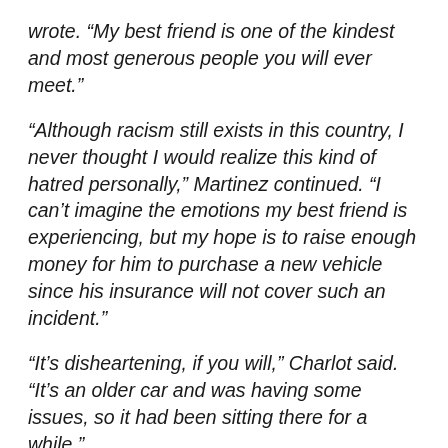wrote. “My best friend is one of the kindest and most generous people you will ever meet.”
“Although racism still exists in this country, I never thought I would realize this kind of hatred personally,” Martinez continued. “I can’t imagine the emotions my best friend is experiencing, but my hope is to raise enough money for him to purchase a new vehicle since his insurance will not cover such an incident.”
“It’s disheartening, if you will,” Charlot said. “It’s an older car and was having some issues, so it had been sitting there for a while.”
Charlot’s 2009 Nissan Sentra was parked in a lot at the 3rd Cavalry Regiment’s headquarters. The incident has left him feeling betrayed by the country he has sworn to